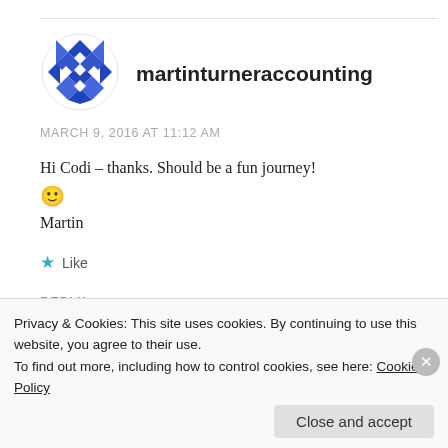[Figure (logo): Blue geometric snowflake/diamond pattern avatar for martinturneraccounting]
martinturneraccounting
MARCH 9, 2016 AT 11:12 AM
Hi Codi – thanks. Should be a fun journey! 🙂 Martin
★ Like
REPLY
Privacy & Cookies: This site uses cookies. By continuing to use this website, you agree to their use.
To find out more, including how to control cookies, see here: Cookie Policy
Close and accept